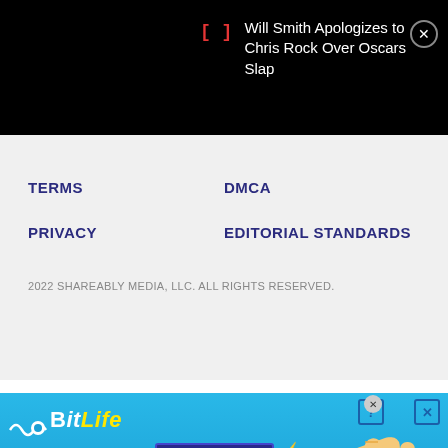Will Smith Apologizes to Chris Rock Over Oscars Slap
TERMS
DMCA
PRIVACY
EDITORIAL STANDARDS
2022 SHAREABLY MEDIA, LLC. ALL RIGHTS RESERVED.
[Figure (illustration): BitLife mobile game advertisement banner with text 'NOW WITH GOD MODE', pointing hand graphic, and close/help buttons on a blue gradient background]